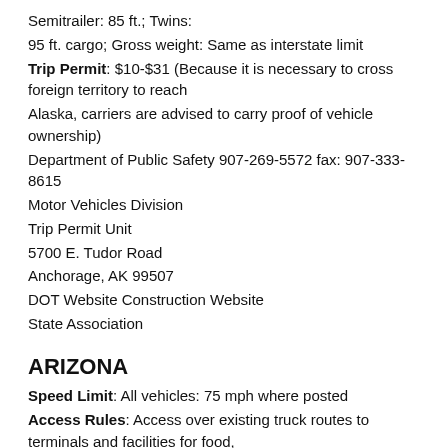Semitrailer: 85 ft.; Twins: 95 ft. cargo; Gross weight: Same as interstate limit Trip Permit: $10-$31 (Because it is necessary to cross foreign territory to reach Alaska, carriers are advised to carry proof of vehicle ownership) Department of Public Safety 907-269-5572 fax: 907-333-8615 Motor Vehicles Division Trip Permit Unit 5700 E. Tudor Road Anchorage, AK 99507 DOT Website Construction Website State Association
ARIZONA
Speed Limit: All vehicles: 75 mph where posted
Access Rules: Access over existing truck routes to terminals and facilities for food,